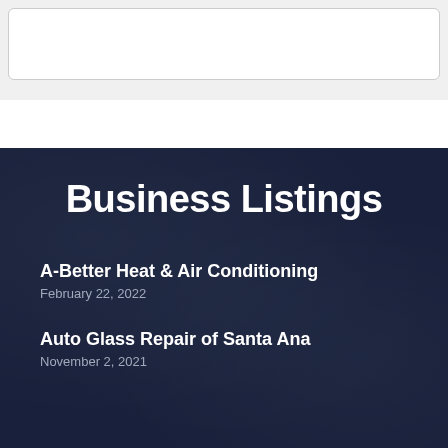Business Listings
A-Better Heat & Air Conditioning
February 22, 2022
Auto Glass Repair of Santa Ana
November 2, 2021